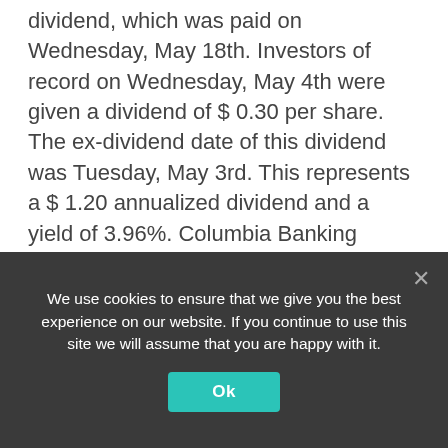dividend, which was paid on Wednesday, May 18th. Investors of record on Wednesday, May 4th were given a dividend of $ 0.30 per share. The ex-dividend date of this dividend was Tuesday, May 3rd. This represents a $ 1.20 annualized dividend and a yield of 3.96%. Columbia Banking System's payout ratio is 42.86%.
COLB has been the topic of several recent analyst reports. StockNews.com initiated coverage on Columbia Banking System in a report on Thursday, March 31st. They issued a “hold” rating on the stock. Piper Sandler lowered their price target on Columbia Banking System from $ 35.00 to $ 31.00 in a report on
We use cookies to ensure that we give you the best experience on our website. If you continue to use this site we will assume that you are happy with it.